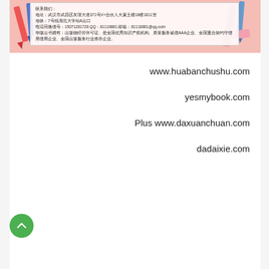[Figure (illustration): Banner image with pink background showing stationery items (pencils, rulers, markers). Contains a white contact information box with Chinese text: address in Wuhan, metro line info, phone/QQ/email, and business credentials.]
www.huabanchushu.com
yesmybook.com
Plus www.daxuanchuan.com
dadaixie.com